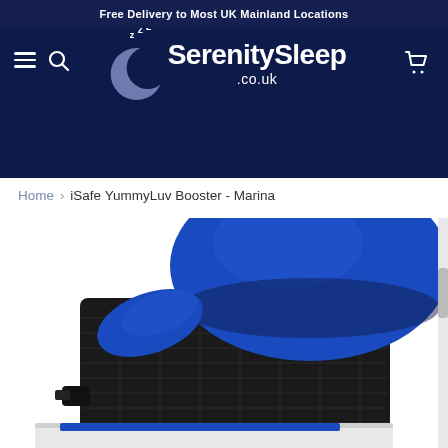Free Delivery to Most UK Mainland Locations
[Figure (logo): SerenitySleep.co.uk logo with crescent moon and ZZZ sleep icons on dark navy background]
Home > iSafe YummyLuv Booster - Marina
[Figure (photo): Close-up photo of the iSafe YummyLuv Booster seat in Marina (blue) color, showing padded blue headrest and black mesh/fabric back panel, with white chair frame visible at bottom]